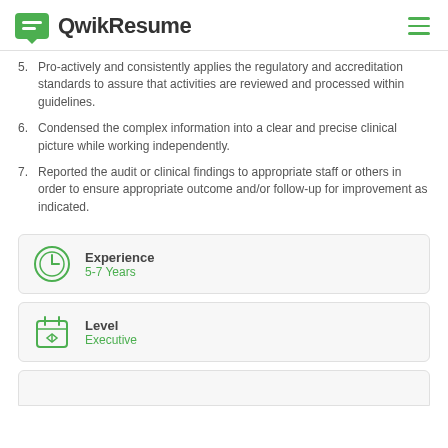QwikResume
5. Pro-actively and consistently applies the regulatory and accreditation standards to assure that activities are reviewed and processed within guidelines.
6. Condensed the complex information into a clear and precise clinical picture while working independently.
7. Reported the audit or clinical findings to appropriate staff or others in order to ensure appropriate outcome and/or follow-up for improvement as indicated.
Experience
5-7 Years
Level
Executive